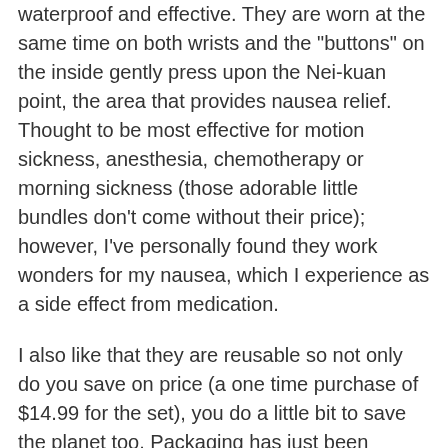waterproof and effective. They are worn at the same time on both wrists and the "buttons" on the inside gently press upon the Nei-kuan point, the area that provides nausea relief. Thought to be most effective for motion sickness, anesthesia, chemotherapy or morning sickness (those adorable little bundles don't come without their price); however, I've personally found they work wonders for my nausea, which I experience as a side effect from medication.
I also like that they are reusable so not only do you save on price (a one time purchase of $14.99 for the set), you do a little bit to save the planet too. Packaging has just been revamped to be more compact too.
Instead of filling your bathroom drawer with a bunch of pharmaceuticals that don't work (or just put you to sleep), go